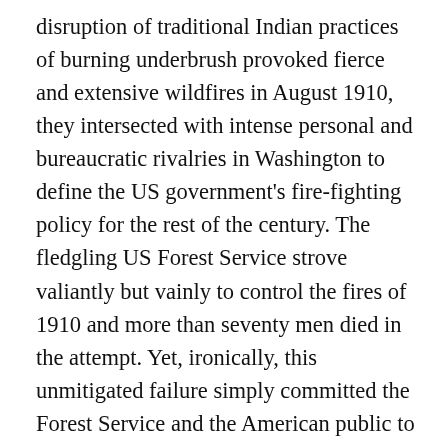disruption of traditional Indian practices of burning underbrush provoked fierce and extensive wildfires in August 1910, they intersected with intense personal and bureaucratic rivalries in Washington to define the US government's fire-fighting policy for the rest of the century. The fledgling US Forest Service strove valiantly but vainly to control the fires of 1910 and more than seventy men died in the attempt. Yet, ironically, this unmitigated failure simply committed the Forest Service and the American public to greater effort, and more funding for firefighting, while those who had argued that fire was necessary for taming the wilderness, clearing land, and making it more useful to ranchers and settlers were discredited and eventually harried from public office.